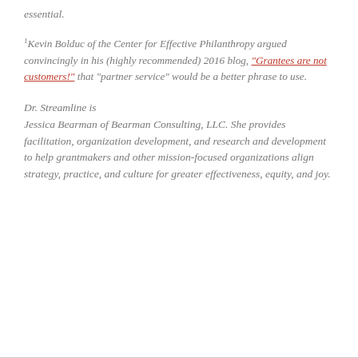essential.
1 Kevin Bolduc of the Center for Effective Philanthropy argued convincingly in his (highly recommended) 2016 blog, "Grantees are not customers!" that "partner service" would be a better phrase to use.
Dr. Streamline is Jessica Bearman of Bearman Consulting, LLC. She provides facilitation, organization development, and research and development to help grantmakers and other mission-focused organizations align strategy, practice, and culture for greater effectiveness, equity, and joy.